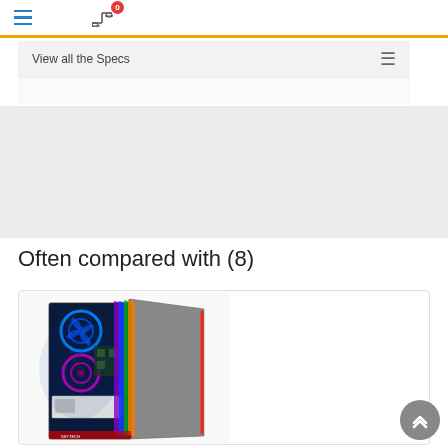Navigation bar with hamburger menu and compare icon (0 items)
View all the Specs
Often compared with (8)
[Figure (photo): Gaming PC tower case with RGB lighting showing multiple colorful fans and a side panel with red LED stripe]